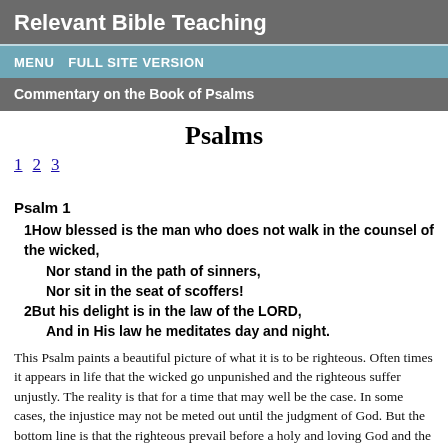Relevant Bible Teaching
MENU   FULL SITE VERSION
Commentary on the Book of Psalms
Psalms
1 2 3
Psalm 1
1How blessed is the man who does not walk in the counsel of the wicked,
    Nor stand in the path of sinners,
    Nor sit in the seat of scoffers!
2But his delight is in the law of the LORD,
    And in His law he meditates day and night.
This Psalm paints a beautiful picture of what it is to be righteous. Often times it appears in life that the wicked go unpunished and the righteous suffer unjustly. The reality is that for a time that may well be the case. In some cases, the injustice may not be meted out until the judgment of God. But the bottom line is that the righteous prevail before a holy and loving God and the wicked will